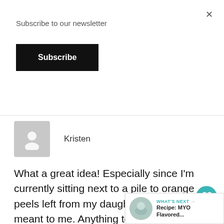Subscribe to our newsletter
Subscribe
[Figure (illustration): Gray placeholder avatar icon with silhouette of a person]
Kristen
What a great idea! Especially since I'm currently sitting next to a pile to orange peels left from my daughter! I think it was meant to me. Anything to neutralize that vinegar smell. Even if the citrus smell starts to fade, I'll prob just add a drop or 2 essential oil. Have a great weekend!
[Figure (infographic): What's Next overlay with thumbnail and text: Recipe: MYO Flavored...]